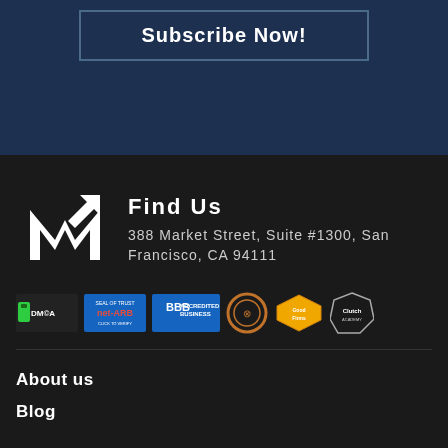Subscribe Now!
Find Us
388 Market Street, Suite #1300, San Francisco, CA 94111
[Figure (logo): Mastermind company logo - white M with upward arrow on dark background]
[Figure (infographic): Trust badges row: DMCA protected, net-ARB Seal of Trust, BBB Accredited Business, circular badge, GoodFirms badge, Clutch badge]
About us
Blog